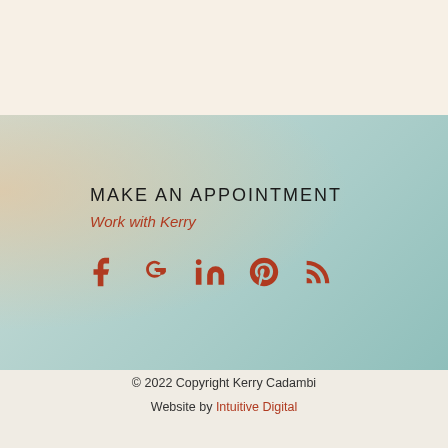MAKE AN APPOINTMENT
Work with Kerry
[Figure (infographic): Social media icons: Facebook, Google+, LinkedIn, Pinterest, RSS feed — all in dark red/terracotta color]
© 2022 Copyright Kerry Cadambi
Website by Intuitive Digital